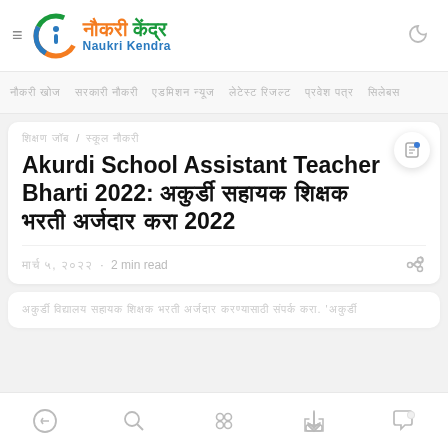Naukri Kendra - नौकरी केंद्र
नौकरी खोज  सरकारी नौकरी  एडमिशन न्यूज  लेटेस्ट रिजल्ट  प्रवेश पत्र  सिलेबस
शिक्षा नौकरी / स्कूल नौकरी
Akurdi School Assistant Teacher Bharti 2022: अकुर्डी सहायक शिक्षक भरती अर्जदार करा 2022
मार्च ५, २०२२  · 2 min read
अकुर्डी विद्यालय सहायक शिक्षक भरती अर्जदार करण्यासाठी संपर्क करा. 'अकुर्डी